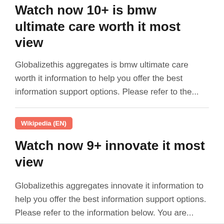Watch now 10+ is bmw ultimate care worth it most view
Globalizethis aggregates is bmw ultimate care worth it information to help you offer the best information support options. Please refer to the...
Wikipedia (EN)
Watch now 9+ innovate it most view
Globalizethis aggregates innovate it information to help you offer the best information support options. Please refer to the information below. You are...